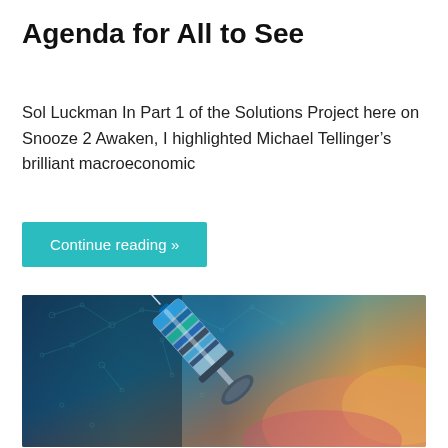Agenda for All to See
Sol Luckman In Part 1 of the Solutions Project here on Snooze 2 Awaken, I highlighted Michael Tellinger’s brilliant macroeconomic
Continue reading »
[Figure (photo): A stylized digital illustration of a medical syringe with a metallic blue and teal barrel against a colorful blurred background with molecular/network pattern overlay in teal/dark tones on the left and warm yellow/orange/pink tones on the right.]